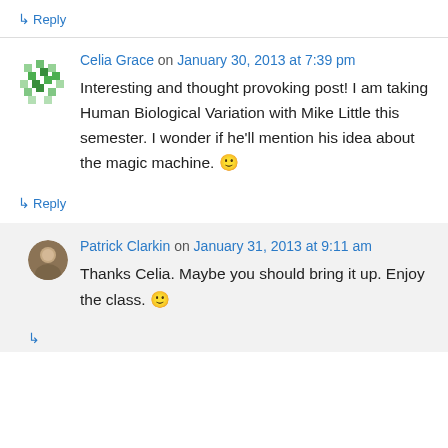↳ Reply
Celia Grace on January 30, 2013 at 7:39 pm
Interesting and thought provoking post! I am taking Human Biological Variation with Mike Little this semester. I wonder if he'll mention his idea about the magic machine. 🙂
↳ Reply
Patrick Clarkin on January 31, 2013 at 9:11 am
Thanks Celia. Maybe you should bring it up. Enjoy the class. 🙂